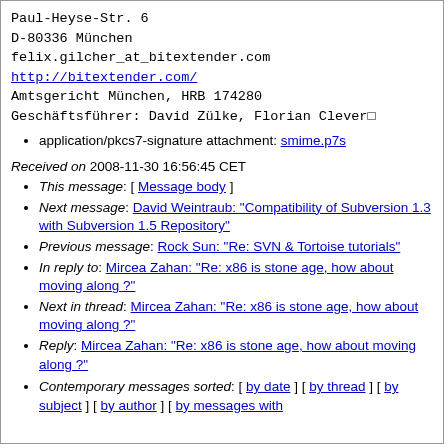Paul-Heyse-Str. 6
D-80336 München
felix.gilcher_at_bitextender.com
http://bitextender.com/
Amtsgericht München, HRB 174280
Geschäftsführer: David Zülke, Florian Clever□
application/pkcs7-signature attachment: smime.p7s
Received on 2008-11-30 16:56:45 CET
This message: [ Message body ]
Next message: David Weintraub: "Compatibility of Subversion 1.3 with Subversion 1.5 Repository"
Previous message: Rock Sun: "Re: SVN & Tortoise tutorials"
In reply to: Mircea Zahan: "Re: x86 is stone age, how about moving along ?"
Next in thread: Mircea Zahan: "Re: x86 is stone age, how about moving along ?"
Reply: Mircea Zahan: "Re: x86 is stone age, how about moving along ?"
Contemporary messages sorted: [ by date ] [ by thread ] [ by subject ] [ by author ] [ by messages with